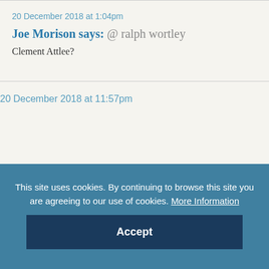20 December 2018 at 1:04pm
Joe Morison says: @ ralph wortley
Clement Attlee?
20 December 2018 at 11:57pm
This site uses cookies. By continuing to browse this site you are agreeing to our use of cookies. More Information
Accept